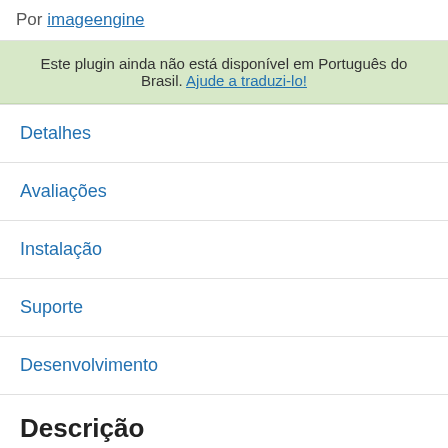Por imageengine
Este plugin ainda não está disponível em Português do Brasil. Ajude a traduzi-lo!
Detalhes
Avaliações
Instalação
Suporte
Desenvolvimento
Descrição
ImageEngine's Image CDN plugin accelerates your WordPress or WooCommerce performance by optimizing images, converting them to WebP